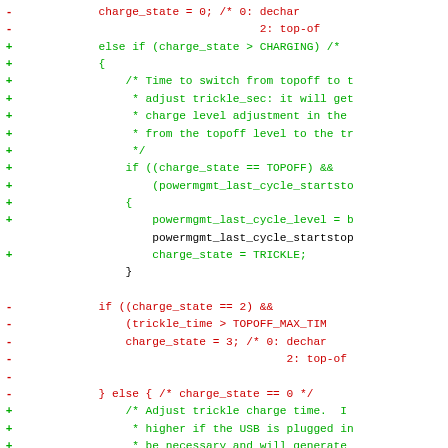[Figure (other): A unified diff / code patch showing changes to a battery charge state management function. Removed lines (red, marked with '-') and added lines (green, marked with '+') showing refactoring of topoff/trickle charge logic.]